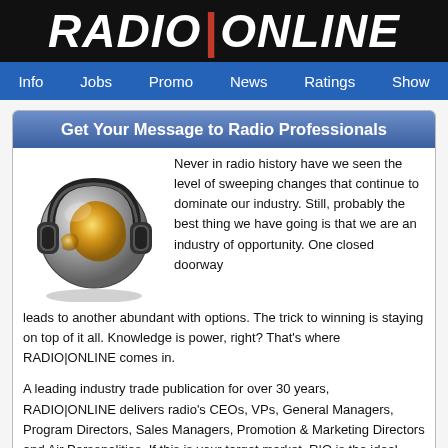RADIO|ONLINE
Info   Jobs   Promo   News   Ratings   Show
Get Your Message to Radio Professionals
[Figure (illustration): A stylized chrome globe wearing over-ear headphones, with a golden/orange continent visible on the globe surface, set against a white background.]
Never in radio history have we seen the level of sweeping changes that continue to dominate our industry. Still, probably the best thing we have going is that we are an industry of opportunity. One closed doorway leads to another abundant with options. The trick to winning is staying on top of it all. Knowledge is power, right? That's where RADIO|ONLINE comes in.
A leading industry trade publication for over 30 years, RADIO|ONLINE delivers radio's CEOs, VPs, General Managers, Program Directors, Sales Managers, Promotion & Marketing Directors and Air Personalities. If this is your target market, R|O is the ideal publication to advertise your products and services with